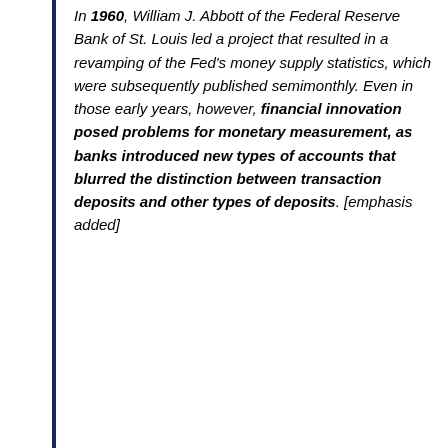In 1960, William J. Abbott of the Federal Reserve Bank of St. Louis led a project that resulted in a revamping of the Fed's money supply statistics, which were subsequently published semimonthly. Even in those early years, however, financial innovation posed problems for monetary measurement, as banks introduced new types of accounts that blurred the distinction between transaction deposits and other types of deposits. [emphasis added]